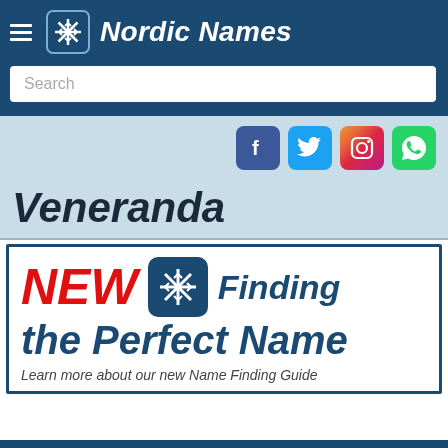Nordic Names
[Figure (screenshot): Website header with hamburger menu, snowflake logo, Nordic Names title, search box, social media icons (Facebook, Twitter, Instagram, WhatsApp), page title 'Veneranda', and a promotional banner for 'Finding the Perfect Name']